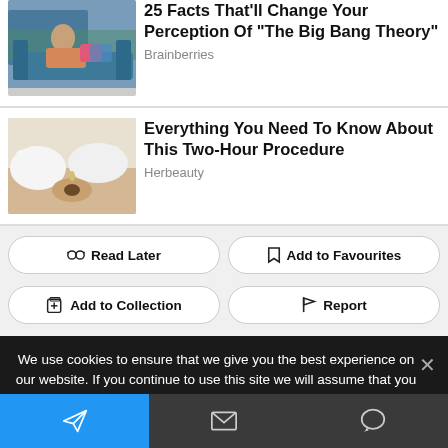[Figure (screenshot): Thumbnail image of a woman on a couch from The Big Bang Theory]
25 Facts That'll Change Your Perception Of "The Big Bang Theory"
Brainberries
[Figure (photo): Close-up medical procedure thumbnail showing gloved hands]
Everything You Need To Know About This Two-Hour Procedure
Herbeauty
Read Later
Add to Favourites
Add to Collection
Report
We use cookies to ensure that we give you the best experience on our website. If you continue to use this site we will assume that you are happy with it.